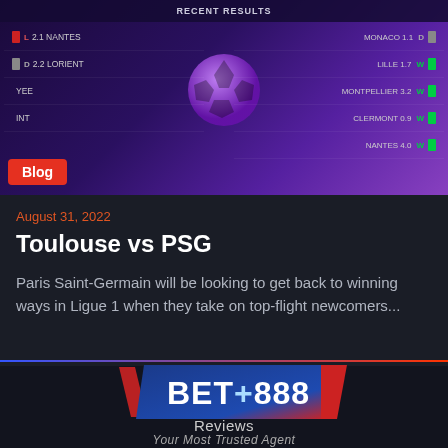[Figure (screenshot): Sports betting website screenshot showing Recent Results panel with football match results including Monaco, Lille, Montpellier, Clermont, Nantes with W/D/L outcomes, purple gradient background with ball graphic, and a red Blog badge]
August 31, 2022
Toulouse vs PSG
Paris Saint-Germain will be looking to get back to winning ways in Ligue 1 when they take on top-flight newcomers...
[Figure (logo): Bet888 logo with blue and red parallelogram shape, bold white text BET888 and tagline Your Most Trusted Agent]
Reviews